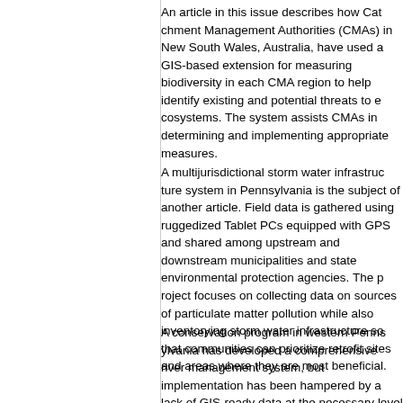An article in this issue describes how Catchment Management Authorities (CMAs) in New South Wales, Australia, have used a GIS-based extension for measuring biodiversity in each CMA region to help identify existing and potential threats to ecosystems. The system assists CMAs in determining and implementing appropriate measures.
A multijurisdictional storm water infrastructure system in Pennsylvania is the subject of another article. Field data is gathered using ruggedized Tablet PCs equipped with GPS and shared among upstream and downstream municipalities and state environmental protection agencies. The project focuses on collecting data on sources of particulate matter pollution while also inventorying storm water infrastructure so that communities can prioritize retrofit sites and areas where they are most beneficial.
A conservation program in western Pennsylvania has developed a comprehensive river management system, but implementation has been hampered by a lack of GIS-ready data at the necessary level of detail. An article in the Focus section details a methodology developed for generating that data. Using GPS, GIS, Spatial Analyst and 3D Analyst extensions and a side-scan sonar fish finder, the Western Pennsylvania Con...